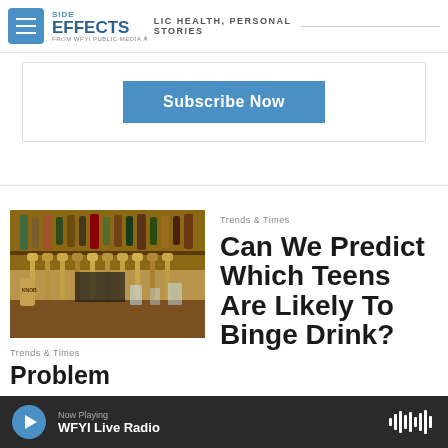SIDE EFFECTS — PUBLIC HEALTH, PERSONAL STORIES — FROM WFYI PUBLIC MEDIA
[Figure (screenshot): Subscribe Now button in a bordered box]
[Figure (photo): Bar with beer taps and bottles of alcohol]
Trends & Times
Problem
Trends & Times
Can We Predict Which Teens Are Likely To Binge Drink?
Now Playing WFYI Live Radio